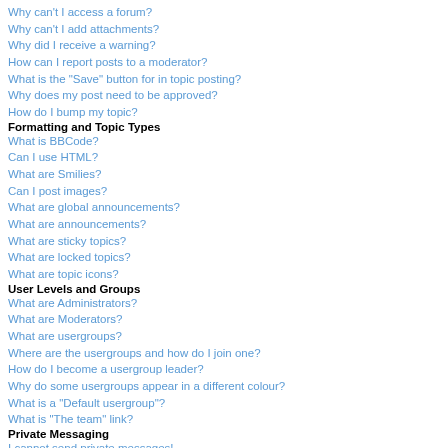Why can't I access a forum?
Why can't I add attachments?
Why did I receive a warning?
How can I report posts to a moderator?
What is the "Save" button for in topic posting?
Why does my post need to be approved?
How do I bump my topic?
Formatting and Topic Types
What is BBCode?
Can I use HTML?
What are Smilies?
Can I post images?
What are global announcements?
What are announcements?
What are sticky topics?
What are locked topics?
What are topic icons?
User Levels and Groups
What are Administrators?
What are Moderators?
What are usergroups?
Where are the usergroups and how do I join one?
How do I become a usergroup leader?
Why do some usergroups appear in a different colour?
What is a "Default usergroup"?
What is "The team" link?
Private Messaging
I cannot send private messages!
I keep getting unwanted private messages!
I have received a spamming or abusive email from someone on this board!
Friends and Foes
What are my Friends and Foes lists?
How can I add / remove users to my Friends or Foes list?
Searching the Forums
How can I search a forum or forums?
Why does my search return no results?
Why does my search return a blank page!?
How do I search for members?
How can I find my own posts and topics?
Subscriptions and Bookmarks
What is the difference between bookmarking and subscribing?